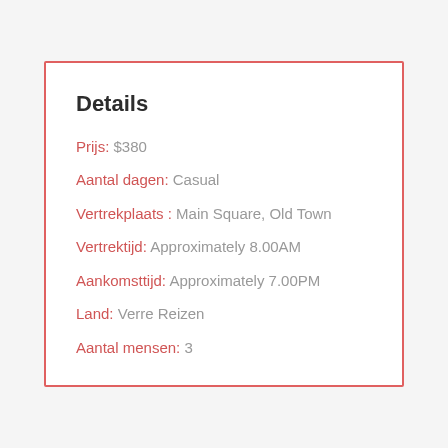Details
Prijs: $380
Aantal dagen: Casual
Vertrekplaats : Main Square, Old Town
Vertrektijd: Approximately 8.00AM
Aankomsttijd: Approximately 7.00PM
Land: Verre Reizen
Aantal mensen: 3